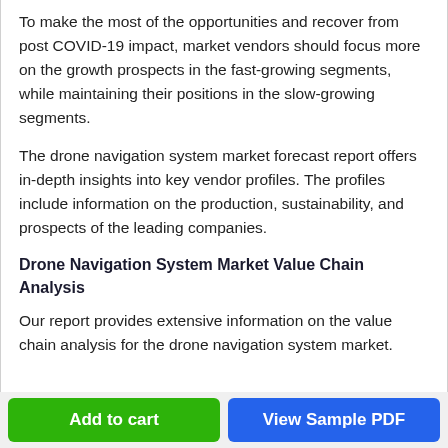To make the most of the opportunities and recover from post COVID-19 impact, market vendors should focus more on the growth prospects in the fast-growing segments, while maintaining their positions in the slow-growing segments.
The drone navigation system market forecast report offers in-depth insights into key vendor profiles. The profiles include information on the production, sustainability, and prospects of the leading companies.
Drone Navigation System Market Value Chain Analysis
Our report provides extensive information on the value chain analysis for the drone navigation system market.
Add to cart | View Sample PDF